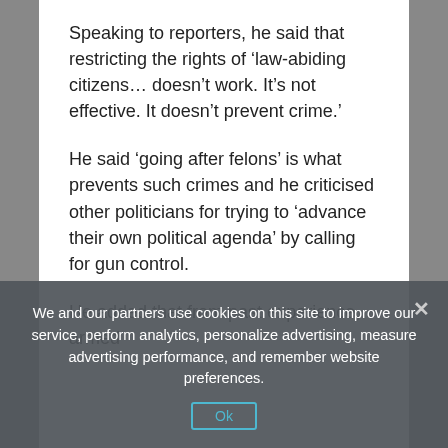Speaking to reporters, he said that restricting the rights of ‘law-abiding citizens… doesn’t work. It’s not effective. It doesn’t prevent crime.’
He said ‘going after felons’ is what prevents such crimes and he criticised other politicians for trying to ‘advance their own political agenda’ by calling for gun control.
He added that from past experience, armed
We and our partners use cookies on this site to improve our service, perform analytics, personalize advertising, measure advertising performance, and remember website preferences.